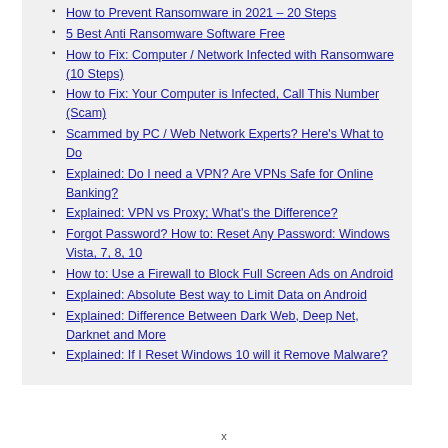How to Prevent Ransomware in 2021 – 20 Steps
5 Best Anti Ransomware Software Free
How to Fix: Computer / Network Infected with Ransomware (10 Steps)
How to Fix: Your Computer is Infected, Call This Number (Scam)
Scammed by PC / Web Network Experts? Here's What to Do
Explained: Do I need a VPN? Are VPNs Safe for Online Banking?
Explained: VPN vs Proxy; What's the Difference?
Forgot Password? How to: Reset Any Password: Windows Vista, 7, 8, 10
How to: Use a Firewall to Block Full Screen Ads on Android
Explained: Absolute Best way to Limit Data on Android
Explained: Difference Between Dark Web, Deep Net, Darknet and More
Explained: If I Reset Windows 10 will it Remove Malware?
x